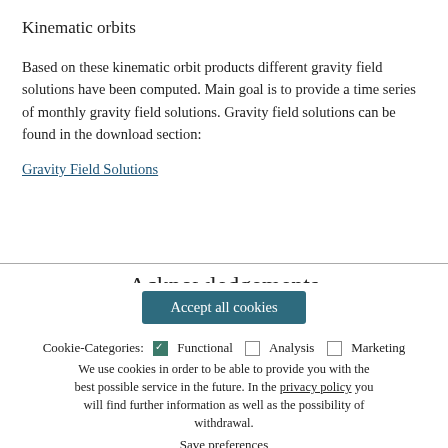Kinematic orbits
Based on these kinematic orbit products different gravity field solutions have been computed. Main goal is to provide a time series of monthly gravity field solutions. Gravity field solutions can be found in the download section:
Gravity Field Solutions
Acknowledgements
Accept all cookies
Cookie-Categories: ☑ Functional ☐ Analysis ☐ Marketing We use cookies in order to be able to provide you with the best possible service in the future. In the privacy policy you will find further information as well as the possibility of withdrawal.
Save preferences